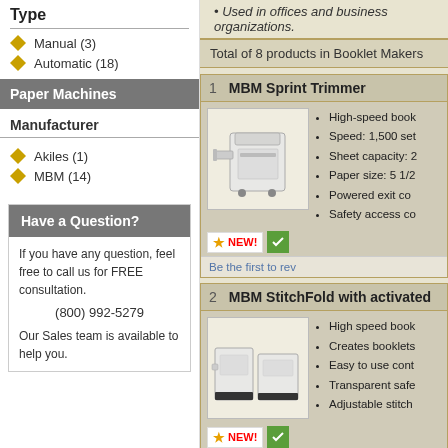Type
Manual (3)
Automatic (18)
Paper Machines
Manufacturer
Akiles (1)
MBM (14)
Have a Question?
If you have any question, feel free to call us for FREE consultation.
(800) 992-5279
Our Sales team is available to help you.
Used in offices and business organizations.
Total of 8 products in Booklet Makers
1   MBM Sprint Trimmer
[Figure (photo): MBM Sprint Trimmer booklet maker machine, white cabinet on wheels]
High-speed book
Speed: 1,500 set
Sheet capacity: 2
Paper size: 5 1/2
Powered exit co
Safety access co
Be the first to rev
2   MBM StitchFold with activated
[Figure (photo): MBM StitchFold booklet maker machine, white and black cabinet]
High speed book
Creates booklets
Easy to use cont
Transparent safe
Adjustable stitch
Be the first to rev